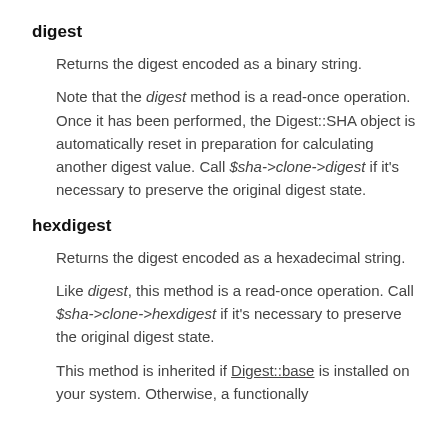digest
Returns the digest encoded as a binary string.
Note that the digest method is a read-once operation. Once it has been performed, the Digest::SHA object is automatically reset in preparation for calculating another digest value. Call $sha->clone->digest if it's necessary to preserve the original digest state.
hexdigest
Returns the digest encoded as a hexadecimal string.
Like digest, this method is a read-once operation. Call $sha->clone->hexdigest if it's necessary to preserve the original digest state.
This method is inherited if Digest::base is installed on your system. Otherwise, a functionally